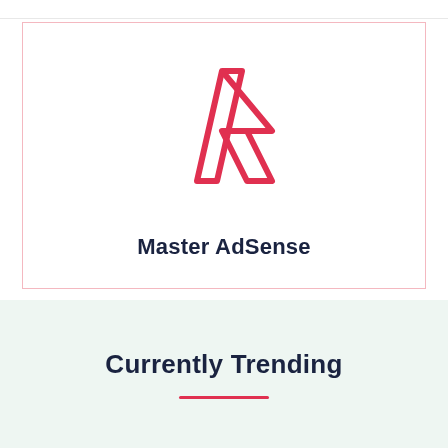[Figure (logo): Master AdSense logo: a red/pink stylized lightning bolt or parallelogram-based icon above the text 'Master AdSense' in dark navy bold font, inside a pink-bordered card]
Currently Trending